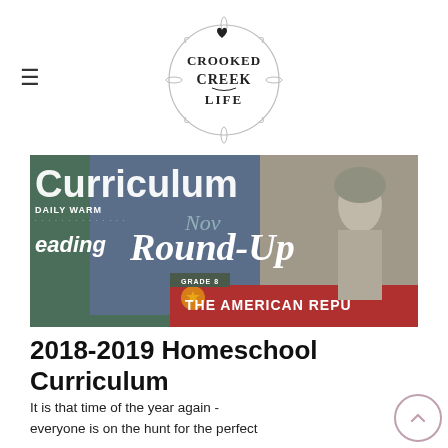Crooked Creek Life (logo)
[Figure (photo): Hero image showing homeschool curriculum books including 'Daily Warm-Up Reading Grade 8' and 'The American Republic' with overlaid text reading 'Curriculum Round-Up']
2018-2019 Homeschool Curriculum
It is that time of the year again - everyone is on the hunt for the perfect